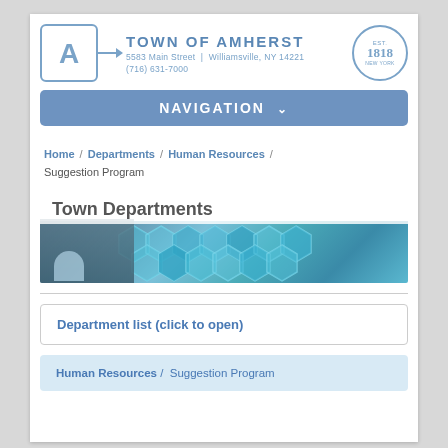TOWN OF AMHERST | 5583 Main Street | Williamsville, NY 14221 | (716) 631-7000
NAVIGATION
Home / Departments / Human Resources / Suggestion Program
[Figure (photo): Town Departments banner with person using tablet and hexagonal blue pattern background]
Department list (click to open)
Human Resources / Suggestion Program